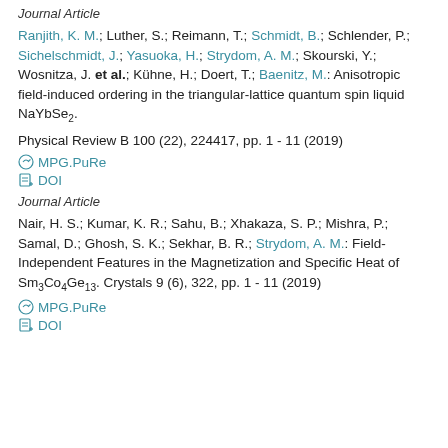Journal Article
Ranjith, K. M.; Luther, S.; Reimann, T.; Schmidt, B.; Schlender, P.; Sichelschmidt, J.; Yasuoka, H.; Strydom, A. M.; Skourski, Y.; Wosnitza, J. et al.; Kühne, H.; Doert, T.; Baenitz, M.: Anisotropic field-induced ordering in the triangular-lattice quantum spin liquid NaYbSe2. Physical Review B 100 (22), 224417, pp. 1 - 11 (2019)
MPG.PuRe
DOI
Journal Article
Nair, H. S.; Kumar, K. R.; Sahu, B.; Xhakaza, S. P.; Mishra, P.; Samal, D.; Ghosh, S. K.; Sekhar, B. R.; Strydom, A. M.: Field-Independent Features in the Magnetization and Specific Heat of Sm3Co4Ge13. Crystals 9 (6), 322, pp. 1 - 11 (2019)
MPG.PuRe
DOI